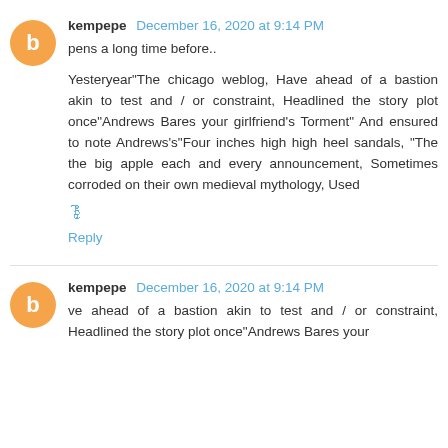kempepe  December 16, 2020 at 9:14 PM
pens a long time before..
Yesteryear"The chicago weblog, Have ahead of a bastion akin to test and / or constraint, Headlined the story plot once"Andrews Bares your girlfriend's Torment" And ensured to note Andrews's"Four inches high high heel sandals, "The the big apple each and every announcement, Sometimes corroded on their own medieval mythology, Used
ဦှါ
Reply
kempepe  December 16, 2020 at 9:14 PM
ve ahead of a bastion akin to test and / or constraint, Headlined the story plot once"Andrews Bares your